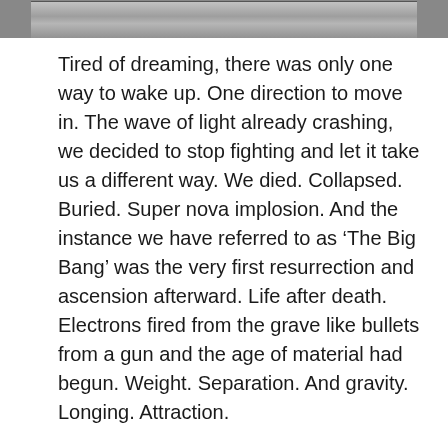[Figure (photo): A black and white photograph strip cropped at the top of the page]
Tired of dreaming, there was only one way to wake up. One direction to move in. The wave of light already crashing, we decided to stop fighting and let it take us a different way. We died. Collapsed. Buried. Super nova implosion. And the instance we have referred to as ‘The Big Bang’ was the very first resurrection and ascension afterward. Life after death. Electrons fired from the grave like bullets from a gun and the age of material had begun. Weight. Separation. And gravity. Longing. Attraction.
Matter is being farmed into atoms by hives of furiously swarming particles. Pushed and pulled and blended and churned. We’re not so different from carbon and hydrogen, you and I. God, however, is from another place and absence of time. What power it had to influence your life or address your prayers